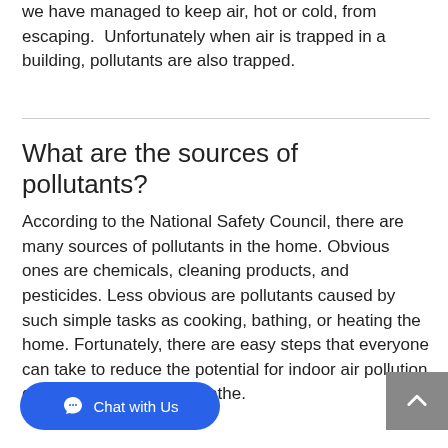we have managed to keep air, hot or cold, from escaping.  Unfortunately when air is trapped in a building, pollutants are also trapped.
What are the sources of pollutants?
According to the National Safety Council, there are many sources of pollutants in the home. Obvious ones are chemicals, cleaning products, and pesticides. Less obvious are pollutants caused by such simple tasks as cooking, bathing, or heating the home. Fortunately, there are easy steps that everyone can take to reduce the potential for indoor air pollution quality of the air they breathe.